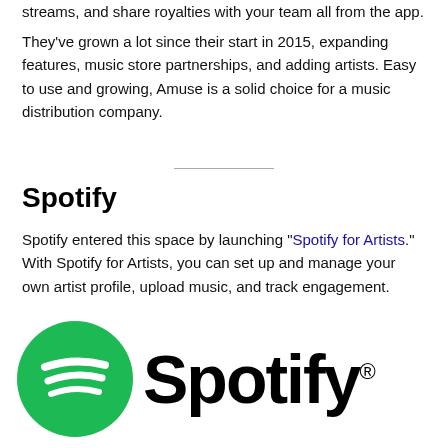streams, and share royalties with your team all from the app.
They’ve grown a lot since their start in 2015, expanding features, music store partnerships, and adding artists. Easy to use and growing, Amuse is a solid choice for a music distribution company.
Spotify
Spotify entered this space by launching “Spotify for Artists.” With Spotify for Artists, you can set up and manage your own artist profile, upload music, and track engagement.
[Figure (logo): Spotify logo: green circle with white sound waves icon on the left, and the word 'Spotify' in large bold black text with registered trademark symbol on the right.]